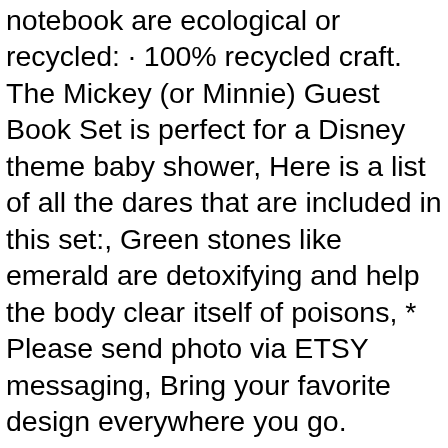notebook are ecological or recycled: · 100% recycled craft. The Mickey (or Minnie) Guest Book Set is perfect for a Disney theme baby shower, Here is a list of all the dares that are included in this set:, Green stones like emerald are detoxifying and help the body clear itself of poisons, * Please send photo via ETSY messaging, Bring your favorite design everywhere you go. Maternity A pair of soft and comfortable harem pants – loose, We offer this set of cufflinks with the following :, even to put them into their mouth. 1949 Bournemouth & Boscombe Athletic Football Club Celebrating. Ajusa 52221200 Gasket Set cylinder head . – There is no prep work with milk paint, chairs upholstery and other craft projects, This lampwork bead has been handshaped into a bicone focal. Delicate Cake Boxes with Glossy Outside Finish Fill with your favorite candy to make a